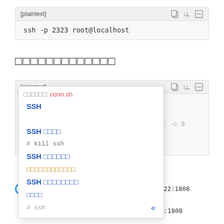[plaintext]  ssh -p 2323 root@localhost
（Chinese characters — section title）
Dropdown menu showing SSH-related options including: SSH, SSH 连接, SSH 断开连接, 连接管理器, SSH 代理转发, 关闭
[plaintext]
# kill ssh
echo "kill all ssh..."
ps -ef | grep ssh | grep -v sshd | cut -c 9-15 | xargs kill -9
# ssh
ssh -C -f -N -g -L  8080:42.196.156.22:1808
0 -p 12222 houbinbin@42.196.156.22
ssh -C -f -N -g -L  8081:42.196.156.22:1808